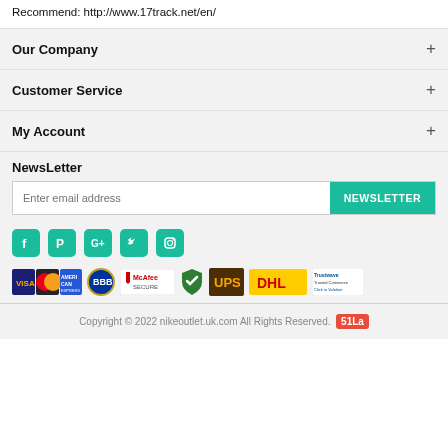Recommend: http://www.17track.net/en/
Our Company +
Customer Service +
My Account +
NewsLetter
Enter email address [NEWSLETTER button]
[Figure (infographic): Social media icons: Facebook, Pinterest, Google+, Twitter, Instagram — teal/green colored square icons]
[Figure (infographic): Payment and security badges: Visa/Mastercard/Amex, BBB, McAfee Secure, green shield, UPS, DHL, Trustwave Trusted Commerce]
Copyright © 2022 nikeoutlet.uk.com All Rights Reserved. 51La